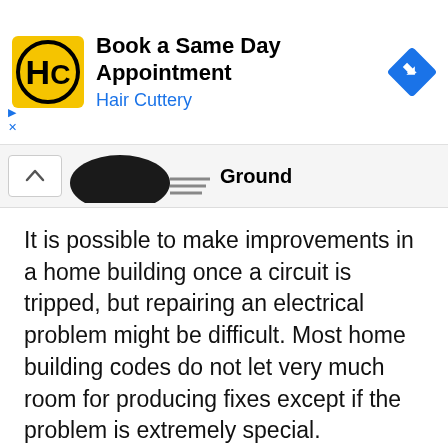[Figure (screenshot): Advertisement banner for Hair Cuttery showing logo, 'Book a Same Day Appointment' text, blue navigation arrow icon, and small ad attribution icons]
[Figure (schematic): Partial wiring diagram showing a ground symbol with horizontal lines and the label 'Ground', with a chevron/up arrow navigation button on the left]
It is possible to make improvements in a home building once a circuit is tripped, but repairing an electrical problem might be difficult. Most home building codes do not let very much room for producing fixes except if the problem is extremely special. Alternatively, it is recommended to call a licensed electrician ahead and be sure the problem is set. Usually, it could be found with ease by calling around for the diverse firms that provide Wiring Diagrams. Ever since the costs for the wiring diagram are